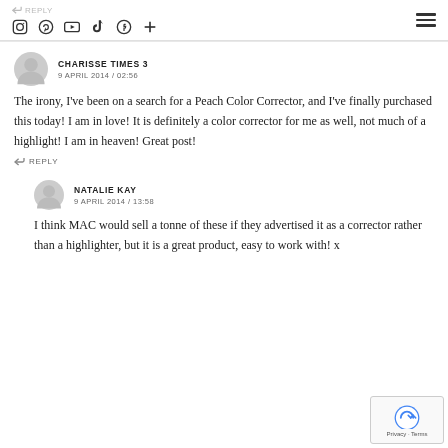REPLY | social icons: Instagram, Pinterest, YouTube, TikTok, Facebook, + | hamburger menu
CHARISSE TIMES 3
9 APRIL 2014 / 02:56
The irony, I've been on a search for a Peach Color Corrector, and I've finally purchased this today! I am in love! It is definitely a color corrector for me as well, not much of a highlight! I am in heaven! Great post!
REPLY
NATALIE KAY
9 APRIL 2014 / 13:58
I think MAC would sell a tonne of these if they advertised it as a corrector rather than a highlighter, but it is a great product, easy to work with! x